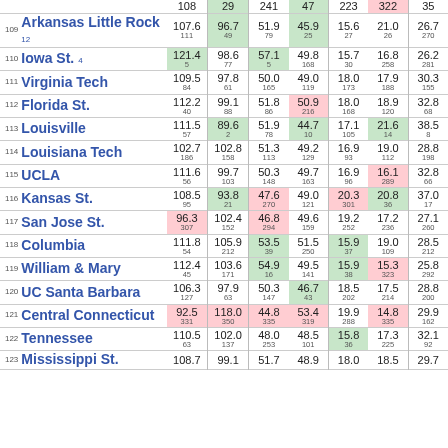| Rank | Team | OffPPG | DefPPG | OffFG% | DefFG% | Off3P | Def3P | Margin |
| --- | --- | --- | --- | --- | --- | --- | --- | --- |
| ~ | ~ | 108 | 29 | 241 | 47 | 223 | 322 | 35 |
| 109 | Arkansas Little Rock 12 | 107.6 111 | 96.7 49 | 51.9 79 | 45.9 25 | 15.6 27 | 21.0 26 | 26.7 270 |
| 110 | Iowa St. 4 | 121.4 5 | 98.6 77 | 57.1 5 | 49.8 168 | 15.7 30 | 16.8 258 | 26.2 281 |
| 111 | Virginia Tech | 109.5 84 | 97.8 61 | 50.0 165 | 49.0 119 | 18.0 173 | 17.9 188 | 30.3 155 |
| 112 | Florida St. | 112.2 40 | 99.1 88 | 51.8 86 | 50.9 216 | 18.0 168 | 18.9 120 | 32.8 68 |
| 113 | Louisville | 111.5 57 | 89.6 2 | 51.9 78 | 44.7 10 | 17.1 105 | 21.6 14 | 38.5 8 |
| 114 | Louisiana Tech | 102.7 186 | 102.8 158 | 51.3 113 | 49.2 129 | 16.9 93 | 19.0 112 | 28.8 198 |
| 115 | UCLA | 111.6 56 | 99.7 103 | 50.3 148 | 49.7 163 | 16.9 96 | 16.1 289 | 32.8 66 |
| 116 | Kansas St. | 108.5 95 | 93.8 21 | 47.6 270 | 49.0 121 | 20.3 301 | 20.8 36 | 37.0 17 |
| 117 | San Jose St. | 96.3 307 | 102.4 152 | 46.8 294 | 49.6 159 | 19.2 252 | 17.2 236 | 27.1 260 |
| 118 | Columbia | 111.8 54 | 105.9 212 | 53.5 39 | 51.5 250 | 15.9 37 | 19.0 109 | 28.5 212 |
| 119 | William & Mary | 112.4 45 | 103.6 171 | 54.9 16 | 49.5 141 | 15.9 38 | 15.3 323 | 25.8 292 |
| 120 | UC Santa Barbara | 106.3 127 | 97.9 63 | 50.3 147 | 46.7 43 | 18.5 202 | 17.5 214 | 28.8 200 |
| 121 | Central Connecticut | 92.5 331 | 118.0 350 | 44.8 335 | 53.4 319 | 19.9 288 | 14.8 335 | 29.9 162 |
| 122 | Tennessee | 110.5 63 | 102.0 137 | 48.0 253 | 48.5 101 | 15.8 36 | 17.3 225 | 32.1 92 |
| 123 | Mississippi St. | 108.7 | 99.1 | 51.7 | 48.9 | 18.0 | 18.5 | 29.7 |